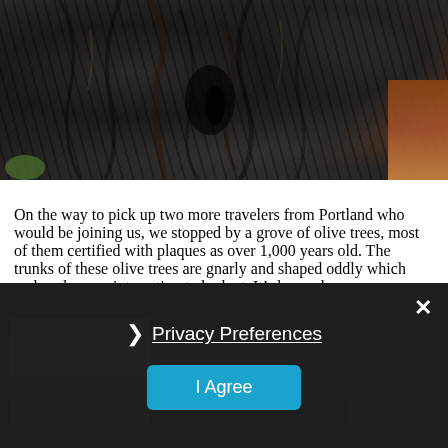[Figure (photo): Close-up photograph of a gnarled, ancient olive tree trunk with dark twisted bark texture, green vegetation at bottom left, reddish-brown rock visible at right edge]
On the way to pick up two more travelers from Portland who would be joining us, we stopped by a grove of olive trees, most of them certified with plaques as over 1,000 years old. The trunks of these olive trees are gnarly and shaped oddly which makes them so interesting to look at. It’s beyond my comprehension who the people were that planted them so many years ago.
[Figure (screenshot): Dark semi-transparent overlay panel on top of a second photo (people in background), containing a Privacy Preferences link with right-chevron arrow and an 'I Agree' teal button, with an X close button in the top right corner]